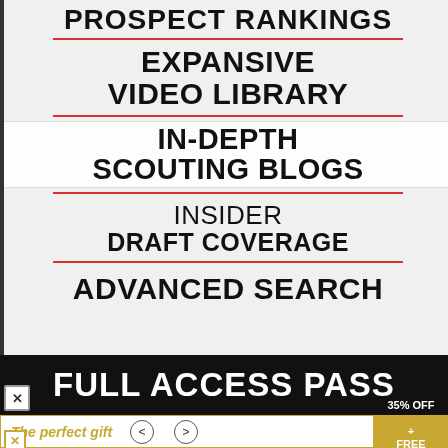PROSPECT RANKINGS
EXPANSIVE VIDEO LIBRARY
IN-DEPTH SCOUTING BLOGS
INSIDER DRAFT COVERAGE
ADVANCED SEARCH
FULL ACCESS PASS
The perfect gift
35% OFF + FREE SHIPPING